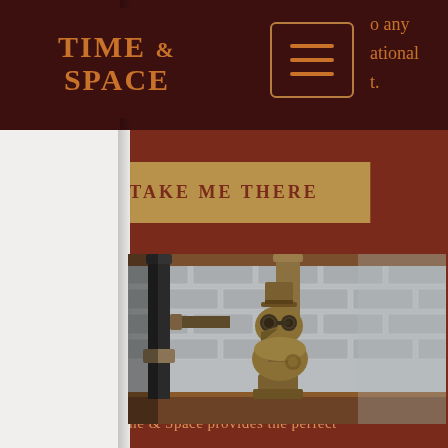[Figure (screenshot): Mobile website screenshot for Time & Space venue. Dark red/maroon background with steampunk aesthetic. Header shows the Time & Space logo (orange gothic lettering) on dark maroon background, a hamburger menu icon, and partial navigation text ('o any', 'ational', 't.'). Below is a 'TAKE ME THERE' button in tan/gold. A photo of a steampunk plague doctor bird sculpture (bronze/brass, wearing top hat and goggles) sits on a wooden shelf against a white brick wall with industrial pipes. Below the photo are the words 'CREATIVE SPACE' in large orange letters and beginning of tagline 'Time & Space provides the perfect'.]